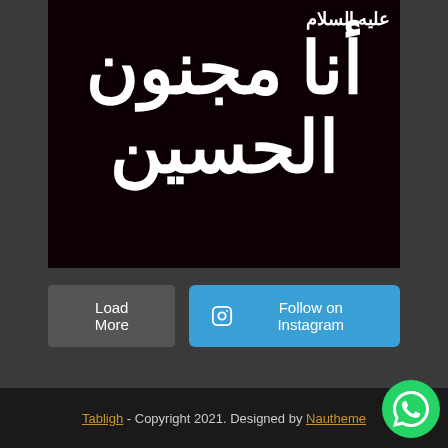[Figure (illustration): Dark maroon/black background image with large white Arabic calligraphy text reading 'Ana Majnoon Al-Hussain' with a small superscript Arabic text above]
Load More
Follow on Instagram
Tabligh - Copyright 2021. Designed by Nautheme